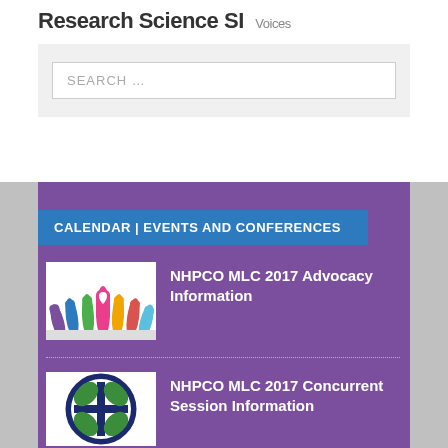Research Science SI Voices
SEARCH …
CALENDAR | EVENTS AND CONFERENCES
[Figure (photo): Colorful raised hands illustration with a heart symbol, representing advocacy]
NHPCO MLC 2017 Advocacy Information
[Figure (logo): NHPCO logo: circular emblem with green leaf shapes and a cross, dark blue border]
NHPCO MLC 2017 Concurrent Session Information